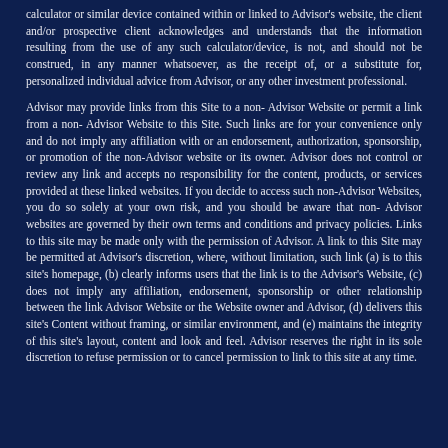calculator or similar device contained within or linked to Advisor's website, the client and/or prospective client acknowledges and understands that the information resulting from the use of any such calculator/device, is not, and should not be construed, in any manner whatsoever, as the receipt of, or a substitute for, personalized individual advice from Advisor, or any other investment professional.
Advisor may provide links from this Site to a non- Advisor Website or permit a link from a non- Advisor Website to this Site. Such links are for your convenience only and do not imply any affiliation with or an endorsement, authorization, sponsorship, or promotion of the non-Advisor website or its owner. Advisor does not control or review any link and accepts no responsibility for the content, products, or services provided at these linked websites. If you decide to access such non-Advisor Websites, you do so solely at your own risk, and you should be aware that non- Advisor websites are governed by their own terms and conditions and privacy policies. Links to this site may be made only with the permission of Advisor. A link to this Site may be permitted at Advisor's discretion, where, without limitation, such link (a) is to this site's homepage, (b) clearly informs users that the link is to the Advisor's Website, (c) does not imply any affiliation, endorsement, sponsorship or other relationship between the link Advisor Website or the Website owner and Advisor, (d) delivers this site's Content without framing, or similar environment, and (e) maintains the integrity of this site's layout, content and look and feel. Advisor reserves the right in its sole discretion to refuse permission or to cancel permission to link to this site at any time.